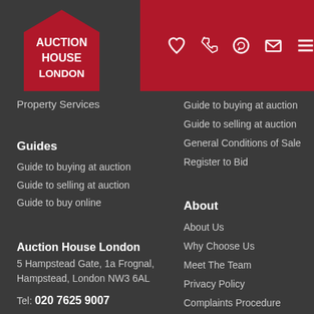[Figure (logo): Auction House London logo — red pentagon/house shape with white text AUCTION HOUSE LONDON]
Navigation bar with icons: heart, phone, WhatsApp, email, hamburger menu
Property Services
Guide to buying at auction
Guide to selling at auction
General Conditions of Sale
Register to Bid
Guides
Guide to buying at auction
Guide to selling at auction
Guide to buy online
About
About Us
Why Choose Us
Meet The Team
Privacy Policy
Complaints Procedure
Auction House London
5 Hampstead Gate, 1a Frognal, Hampstead, London NW3 6AL
Tel: 020 7625 9007